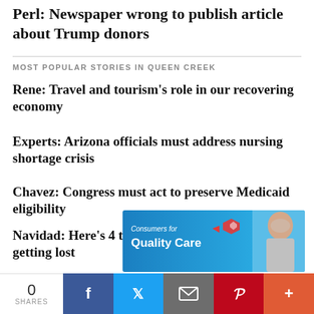Perl: Newspaper wrong to publish article about Trump donors
MOST POPULAR STORIES IN QUEEN CREEK
Rene: Travel and tourism's role in our recovering economy
Experts: Arizona officials must address nursing shortage crisis
Chavez: Congress must act to preserve Medicaid eligibility
Navidad: Here's 4 tips to keep your pets from getting lost
[Figure (illustration): Consumers for Quality Care advertisement banner with logo and elderly man photo]
0 SHARES